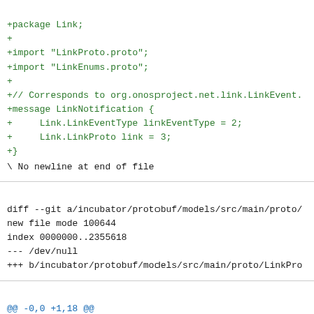+package Link;
+
+import "LinkProto.proto";
+import "LinkEnums.proto";
+
+// Corresponds to org.onosproject.net.link.LinkEvent.
+message LinkNotification {
+     Link.LinkEventType linkEventType = 2;
+     Link.LinkProto link = 3;
+}
\ No newline at end of file
diff --git a/incubator/protobuf/models/src/main/proto/
new file mode 100644
index 0000000..2355618
--- /dev/null
+++ b/incubator/protobuf/models/src/main/proto/LinkPro
@@ -0,0 +1,18 @@
+syntax = "proto3";
+option java_package = "org.onosproject.grpc.net.model
+